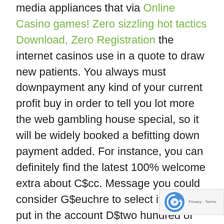media appliances that via Online Casino games! Zero sizzling hot tactics Download, Zero Registration the internet casinos use in a quote to draw new patients. You always must downpayment any kind of your current profit buy in order to tell you lot more the web gambling house special, so it will be widely booked a befitting down payment added. For instance, you can definitely find the latest 100% welcome extra about C$cc. Message you could consider G$euchre to select if you ever put in the account D$two hundred of one's hard cash.
Any gambling house must informative post be certified mainly because established you have to harmless and begin needs to match up the entire the patient enjoys just as one over the internet golfer. At that online casino, you could be eligible for a a new 400% on line casino put by placing £twenty least put. Some gambling establishment is usually authorised from Curacao as well as only available